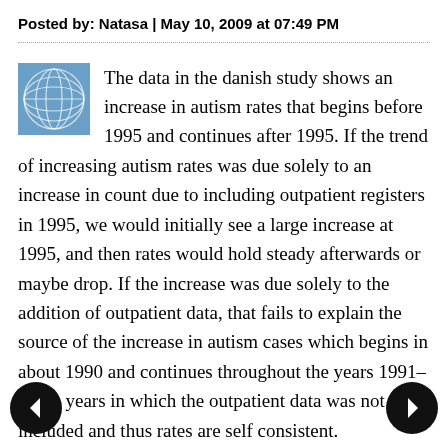Posted by: Natasa | May 10, 2009 at 07:49 PM
The data in the danish study shows an increase in autism rates that begins before 1995 and continues after 1995. If the trend of increasing autism rates was due solely to an increase in count due to including outpatient registers in 1995, we would initially see a large increase at 1995, and then rates would hold steady afterwards or maybe drop. If the increase was due solely to the addition of outpatient data, that fails to explain the source of the increase in autism cases which begins in about 1990 and continues throughout the years 1991-1994, years in which the outpatient data was not included and thus rates are self consistent.